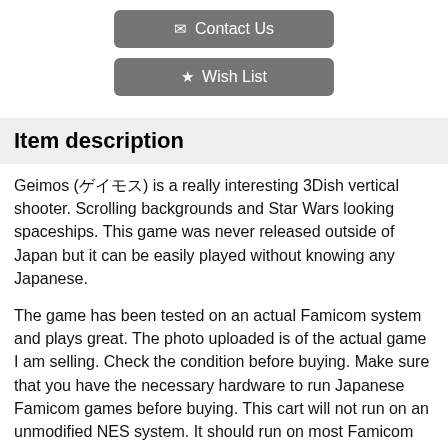✉ Contact Us
★ Wish List
Item description
Geimos (ゲイモス) is a really interesting 3Dish vertical shooter. Scrolling backgrounds and Star Wars looking spaceships. This game was never released outside of Japan but it can be easily played without knowing any Japanese.
The game has been tested on an actual Famicom system and plays great. The photo uploaded is of the actual game I am selling. Check the condition before buying. Make sure that you have the necessary hardware to run Japanese Famicom games before buying. This cart will not run on an unmodified NES system. It should run on most Famicom clones but I cannot guarantee it's compatibility.